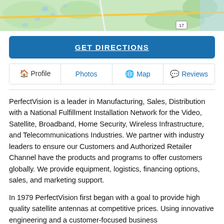[Figure (map): Partial map view showing roads and green terrain, cropped at top of page]
GET DIRECTIONS
Profile  Photos  Map  Reviews
PerfectVision is a leader in Manufacturing, Sales, Distribution with a National Fulfillment Installation Network for the Video, Satellite, Broadband, Home Security, Wireless Infrastructure, and Telecommunications Industries. We partner with industry leaders to ensure our Customers and Authorized Retailer Channel have the products and programs to offer customers globally. We provide equipment, logistics, financing options, sales, and marketing support.
In 1979 PerfectVision first began with a goal to provide high quality satellite antennas at competitive prices. Using innovative engineering and a customer-focused business